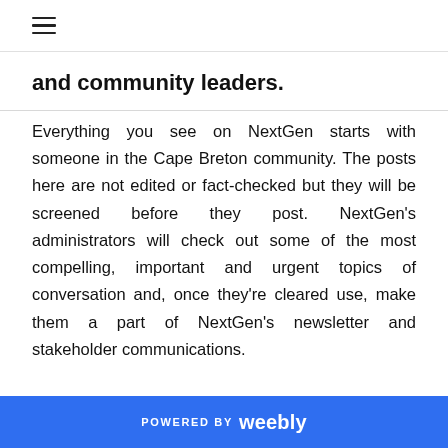≡
and community leaders.
Everything you see on NextGen starts with someone in the Cape Breton community. The posts here are not edited or fact-checked but they will be screened before they post. NextGen's administrators will check out some of the most compelling, important and urgent topics of conversation and, once they're cleared use, make them a part of NextGen's newsletter and stakeholder communications.
POWERED BY weebly